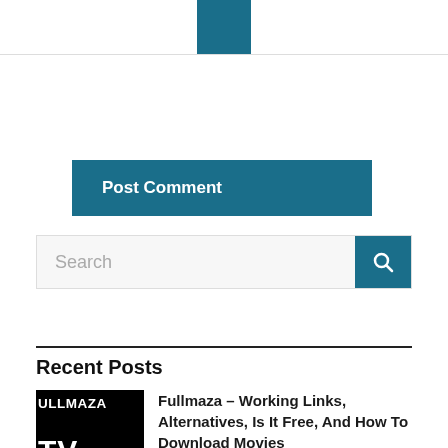≡ (hamburger menu icon)
[Figure (screenshot): Post Comment button on teal/dark blue background]
[Figure (screenshot): Search input box with teal search button]
Recent Posts
[Figure (photo): FULLMAZA TV logo thumbnail - black background with white text]
Fullmaza – Working Links, Alternatives, Is It Free, And How To Download Movies
August 19, 2022